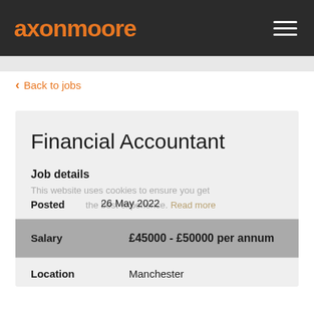axonmoore
< Back to jobs
Financial Accountant
Job details
This website uses cookies to ensure you get the best experience. Read more
Posted   26 May 2022
| Field | Value |
| --- | --- |
| Salary | £45000 - £50000 per annum |
| Location | Manchester |